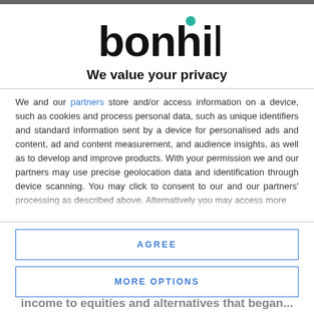[Figure (logo): Bonhill logo: bold black lowercase 'bonhill' text with a small teal/green dot above the letter 'i']
We value your privacy
We and our partners store and/or access information on a device, such as cookies and process personal data, such as unique identifiers and standard information sent by a device for personalised ads and content, ad and content measurement, and audience insights, as well as to develop and improve products. With your permission we and our partners may use precise geolocation data and identification through device scanning. You may click to consent to our and our partners' processing as described above. Alternatively you may access more
AGREE
MORE OPTIONS
income to equities and alternatives that began...